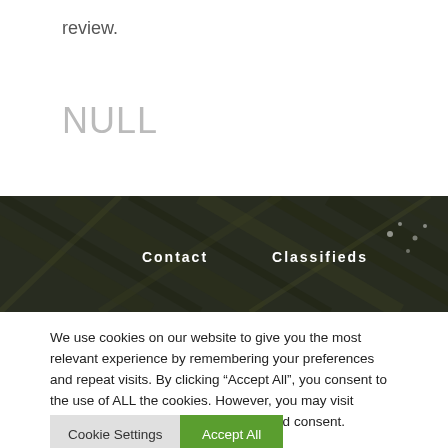review.
NULL
[Figure (photo): Dark green foliage/plant background banner with navigation links 'Contact' and 'Classifieds' in white bold text]
We use cookies on our website to give you the most relevant experience by remembering your preferences and repeat visits. By clicking “Accept All”, you consent to the use of ALL the cookies. However, you may visit “Cookie Settings” to provide a controlled consent.
Cookie Settings
Accept All